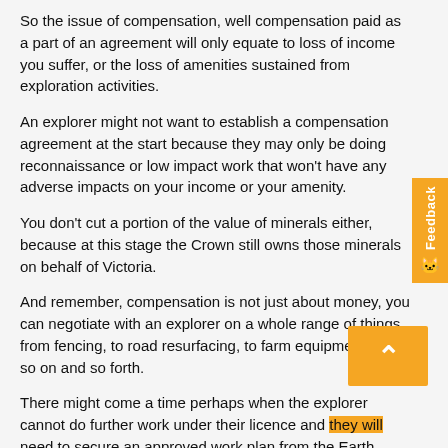So the issue of compensation, well compensation paid as a part of an agreement will only equate to loss of income you suffer, or the loss of amenities sustained from exploration activities.
An explorer might not want to establish a compensation agreement at the start because they may only be doing reconnaissance or low impact work that won't have any adverse impacts on your income or your amenity.
You don't cut a portion of the value of minerals either, because at this stage the Crown still owns those minerals on behalf of Victoria.
And remember, compensation is not just about money, you can negotiate with an explorer on a whole range of things from fencing, to road resurfacing, to farm equipment and so on and so forth.
There might come a time perhaps when the explorer cannot do further work under their licence and they will need to secure an approved work plan from the Earth Resources Regulator at that point.